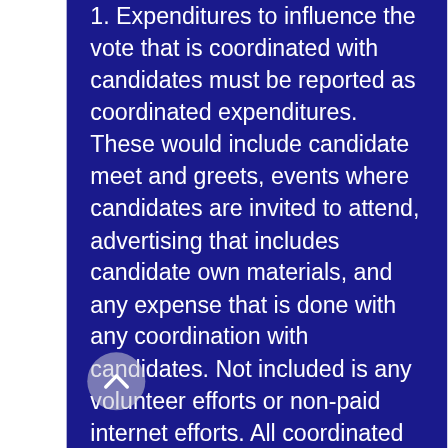Expenditures to influence the vote that is coordinated with candidates must be reported as coordinated expenditures. These would include candidate meet and greets, events where candidates are invited to attend, advertising that includes candidate own materials, and any expense that is done with any coordination with candidates. Not included is any volunteer efforts or non-paid internet efforts. All coordinated expenditures must be reported as in-kind donations to candidates. If the coordinated expenditures is for the benefit of all 15 Ohana Candidates, then 1/15th of the expenditures is credited to each of the 15 candidates. If the coordinated expenditure is for the benefit of only one candidate, then the full expenditure is credited to that one candidate. Pono is limited to donating a maximum of $2000 to 2 year seats, that is county council and state rep candidates, and a maximum of $4000 to...